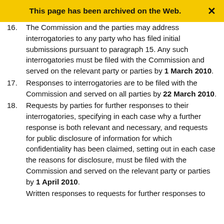This page has been archived on the Web.
The Commission and the parties may address interrogatories to any party who has filed initial submissions pursuant to paragraph 15. Any such interrogatories must be filed with the Commission and served on the relevant party or parties by 1 March 2010.
Responses to interrogatories are to be filed with the Commission and served on all parties by 22 March 2010.
Requests by parties for further responses to their interrogatories, specifying in each case why a further response is both relevant and necessary, and requests for public disclosure of information for which confidentiality has been claimed, setting out in each case the reasons for disclosure, must be filed with the Commission and served on the relevant party or parties by 1 April 2010.
Written responses to requests for further responses to